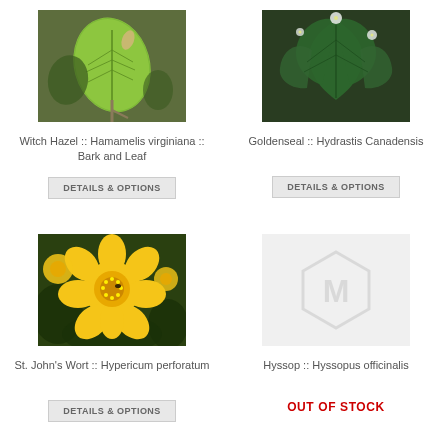[Figure (photo): Witch Hazel plant with green leaf and bare branches]
[Figure (photo): Goldenseal plant with dark green lobed leaves and small white flowers]
Witch Hazel :: Hamamelis virginiana :: Bark and Leaf
Goldenseal :: Hydrastis Canadensis
DETAILS & OPTIONS
DETAILS & OPTIONS
[Figure (photo): St. John's Wort plant with bright yellow flowers]
[Figure (logo): Placeholder image with Magento logo watermark on light grey background]
St. John's Wort :: Hypericum perforatum
Hyssop :: Hyssopus officinalis
DETAILS & OPTIONS
OUT OF STOCK